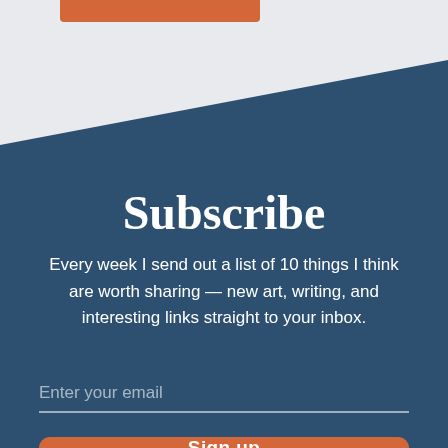Subscribe
Every week I send out a list of 10 things I think are worth sharing — new art, writing, and interesting links straight to your inbox.
Enter your email
Sign up